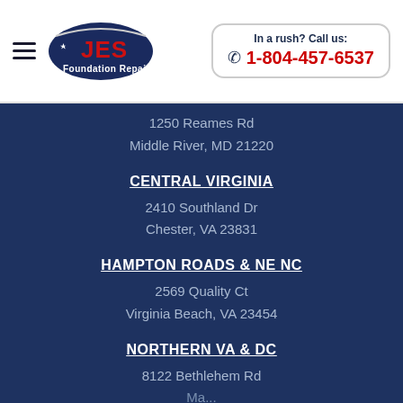JES Foundation Repair | In a rush? Call us: 1-804-457-6537
1250 Reames Rd
Middle River, MD 21220
CENTRAL VIRGINIA
2410 Southland Dr
Chester, VA 23831
HAMPTON ROADS & NE NC
2569 Quality Ct
Virginia Beach, VA 23454
NORTHERN VA & DC
8122 Bethlehem Rd